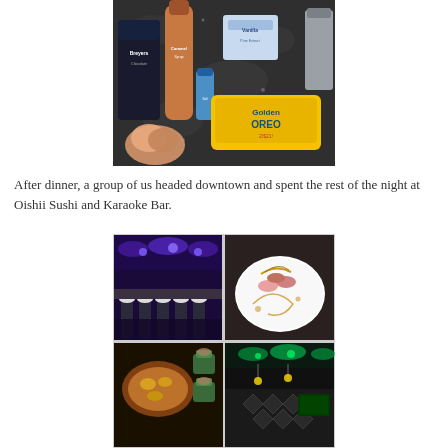[Figure (photo): Food ingredients on a dark granite counter: Breyers ice cream, caramel syrup bottle, Vanilla box, Golden Oreos package, small spice container, and a scoop of ice cream]
After dinner, a group of us headed downtown and spent the rest of the night at Oishii Sushi and Karaoke Bar.
[Figure (photo): Four-photo collage of Oishii Sushi and Karaoke Bar: top-left shows the bar interior with blue lighting and white chairs, top-right shows an elegant sushi dish plated on white, bottom-left shows a baked sushi dish and appetizers, bottom-right shows the karaoke room with green lighting and diamond wall pattern]